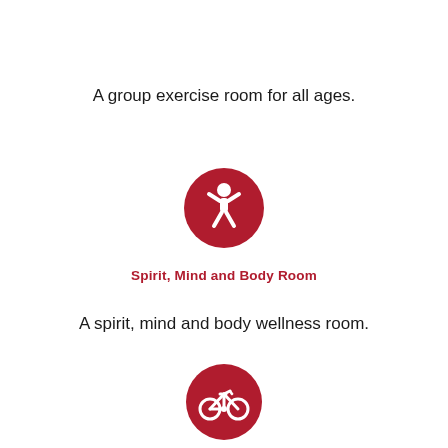A group exercise room for all ages.
[Figure (illustration): Red circle icon with a white person/yoga figure silhouette, representing Spirit, Mind and Body Room]
Spirit, Mind and Body Room
A spirit, mind and body wellness room.
[Figure (illustration): Red circle icon with a white bicycle/spinning bike silhouette, representing Spinning Room]
Spinning Room